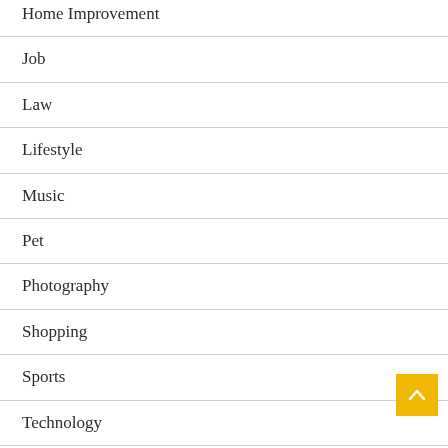Home Improvement
Job
Law
Lifestyle
Music
Pet
Photography
Shopping
Sports
Technology
Travel